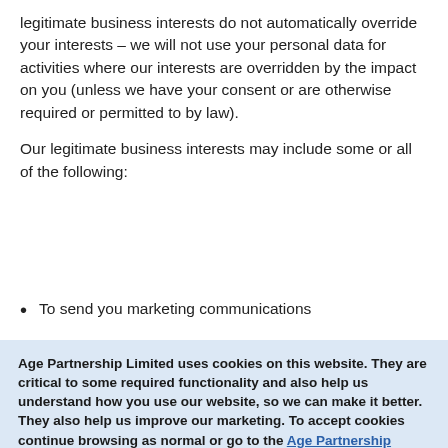legitimate business interests do not automatically override your interests – we will not use your personal data for activities where our interests are overridden by the impact on you (unless we have your consent or are otherwise required or permitted to by law).
Our legitimate business interests may include some or all of the following:
To send you marketing communications
Age Partnership Limited uses cookies on this website. They are critical to some required functionality and also help us understand how you use our website, so we can make it better. They also help us improve our marketing. To accept cookies continue browsing as normal or go to the Age Partnership Cookie Policy for more information and preferences.